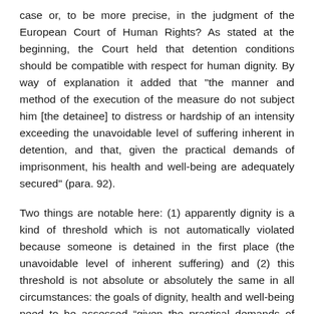case or, to be more precise, in the judgment of the European Court of Human Rights? As stated at the beginning, the Court held that detention conditions should be compatible with respect for human dignity. By way of explanation it added that "the manner and method of the execution of the measure do not subject him [the detainee] to distress or hardship of an intensity exceeding the unavoidable level of suffering inherent in detention, and that, given the practical demands of imprisonment, his health and well-being are adequately secured" (para. 92).
Two things are notable here: (1) apparently dignity is a kind of threshold which is not automatically violated because someone is detained in the first place (the unavoidable level of inherent suffering) and (2) this threshold is not absolute or absolutely the same in all circumstances: the goals of dignity, health and well-being need to be assessed “given the practical demands of imprisonment.”  A certain leeway is thus given and the Court in effect balances the ideal and the possible in the grey zone between clearly inhuman or degrading treatment and permissible treatment. The prohibition of torture, degrading and inhuman treatment is